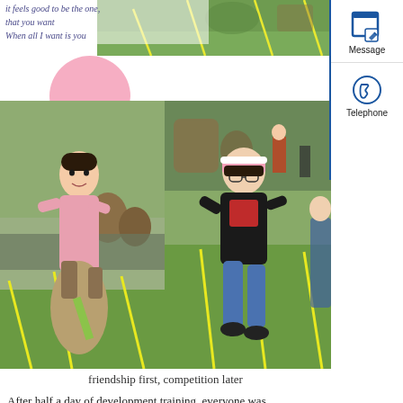it feels good to be the one,
that you want
When all I want is you
[Figure (photo): Right sidebar with Message icon (pencil/page) and Telephone icon, blue border on left]
[Figure (photo): Top strip photo showing outdoor sports field with yellow lines on grass]
[Figure (photo): Two photos side by side: left shows a man in pink shirt doing sack race on green field with crowd, right shows a woman in black shirt and pink visor running on green field with yellow lines]
friendship first, competition later
After half a day of development training, everyone was